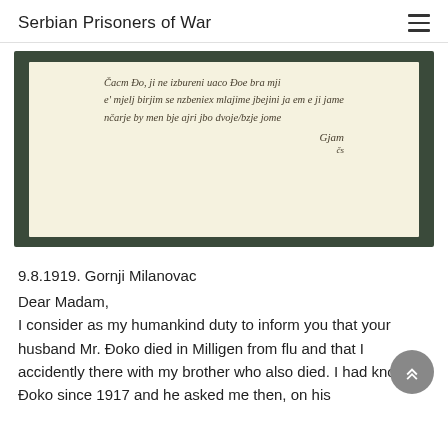Serbian Prisoners of War
[Figure (photo): Photograph of a handwritten letter in cursive script, dated 9.8.1919, on aged yellowish paper with a dark green/black border/backing. The handwriting appears to be in Serbian Cyrillic or cursive Latin script, with a signature at the bottom right.]
9.8.1919. Gornji Milanovac
Dear Madam,
I consider as my humankind duty to inform you that your husband Mr. Đoko died in Milligen from flu and that I accidently there with my brother who also died. I had known Đoko since 1917 and he asked me then, on his